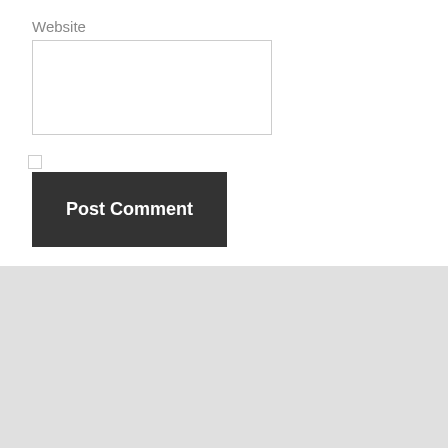Website
[Figure (screenshot): A website comment form showing a 'Website' label with an empty text input box, a checkbox, and a dark gray 'Post Comment' button]
[Figure (photo): A photograph of a woman with platinum blonde hair with bangs, looking at the camera, in a blurred background setting. An orange 'Translate »' button overlays the bottom-left of the image.]